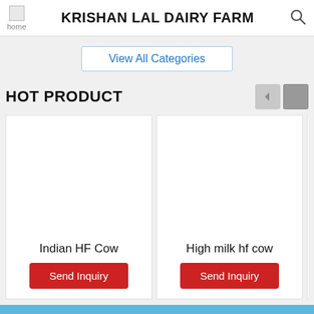KRISHAN LAL DAIRY FARM
View All Categories
HOT PRODUCT
[Figure (photo): Product card for Indian HF Cow with white image area and Send Inquiry button]
Indian HF Cow
Send Inquiry
[Figure (photo): Product card for High milk hf cow with white image area and Send Inquiry button]
High milk hf cow
Send Inquiry
About Us